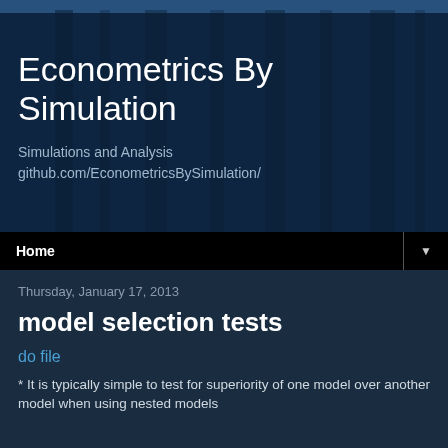Econometrics By Simulation
Simulations and Analysis
github.com/EconometricsBySimulation/
Home ▼
Thursday, January 17, 2013
model selection tests
do file
* It is typically simple to test for superiority of one model over another model when using nested models